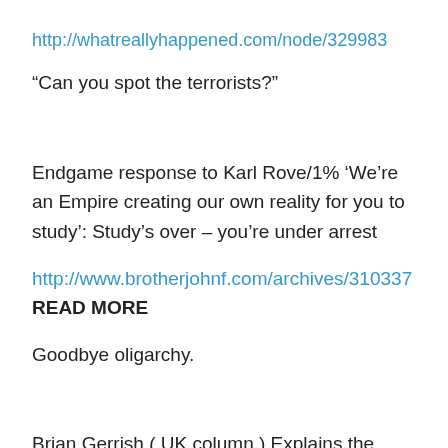http://whatreallyhappened.com/node/329983
“Can you spot the terrorists?”
Endgame response to Karl Rove/1% ‘We’re an Empire creating our own reality for you to study’: Study’s over – you’re under arrest
http://www.brotherjohnf.com/archives/310337 READ MORE
Goodbye oligarchy.
Brian Gerrish ( UK column ) Explains the whole planned